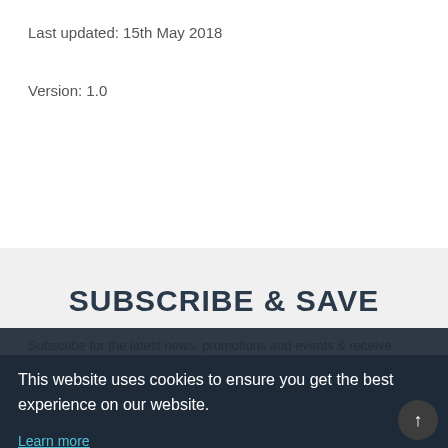Last updated: 15th May 2018
Version: 1.0
SUBSCRIBE & SAVE
Subscribe for the latest news, promotions and events & receive
This website uses cookies to ensure you get the best experience on our website.
Learn more
Got it!